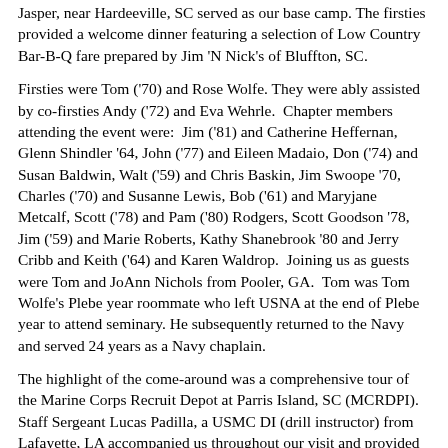Jasper, near Hardeeville, SC served as our base camp. The firsties provided a welcome dinner featuring a selection of Low Country Bar-B-Q fare prepared by Jim 'N Nick's of Bluffton, SC.
Firsties were Tom ('70) and Rose Wolfe. They were ably assisted by co-firsties Andy ('72) and Eva Wehrle. Chapter members attending the event were: Jim ('81) and Catherine Heffernan, Glenn Shindler '64, John ('77) and Eileen Madaio, Don ('74) and Susan Baldwin, Walt ('59) and Chris Baskin, Jim Swoope '70, Charles ('70) and Susanne Lewis, Bob ('61) and Maryjane Metcalf, Scott ('78) and Pam ('80) Rodgers, Scott Goodson '78, Jim ('59) and Marie Roberts, Kathy Shanebrook '80 and Jerry Cribb and Keith ('64) and Karen Waldrop. Joining us as guests were Tom and JoAnn Nichols from Pooler, GA. Tom was Tom Wolfe's Plebe year roommate who left USNA at the end of Plebe year to attend seminary. He subsequently returned to the Navy and served 24 years as a Navy chaplain.
The highlight of the come-around was a comprehensive tour of the Marine Corps Recruit Depot at Parris Island, SC (MCRDPI). Staff Sergeant Lucas Padilla, a USMC DI (drill instructor) from Lafayette, LA accompanied us throughout our visit and provided extraordinary insight into all phases of